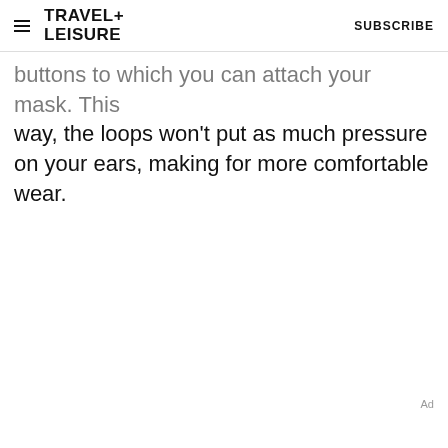TRAVEL+ LEISURE   SUBSCRIBE
buttons to which you can attach your mask. This way, the loops won't put as much pressure on your ears, making for more comfortable wear.
Ad